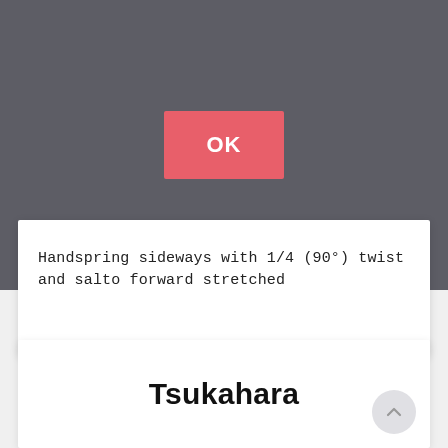[Figure (screenshot): Dark grey header area with a red OK button centered]
Handspring sideways with 1/4 (90°) twist and salto forward stretched
Tsukahara